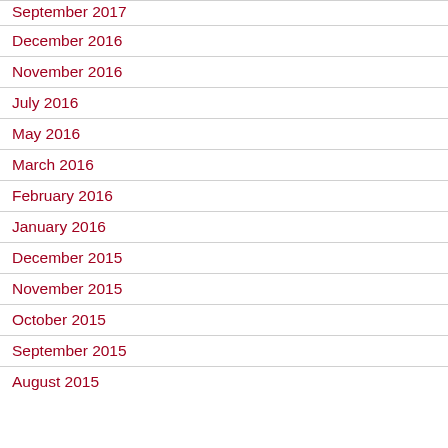September 2017
December 2016
November 2016
July 2016
May 2016
March 2016
February 2016
January 2016
December 2015
November 2015
October 2015
September 2015
August 2015